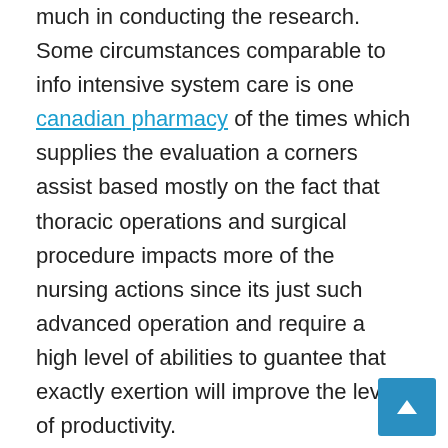much in conducting the research. Some circumstances comparable to info intensive system care is one canadian pharmacy of the times which supplies the evaluation a corners assist based mostly on the fact that thoracic operations and surgical procedure impacts more of the nursing actions since its just such advanced operation and require a high level of abilities to guantee that exactly exertion will improve the level of productivity.
Parmigiano-Reggiano, also known as just Parmesan, is a treasure trove of nutrients. Parmesan is a practical food that promotes well being is linked to reducing gastrointestinal symptoms and the danger of persistent diseases, in accordance to an extensive